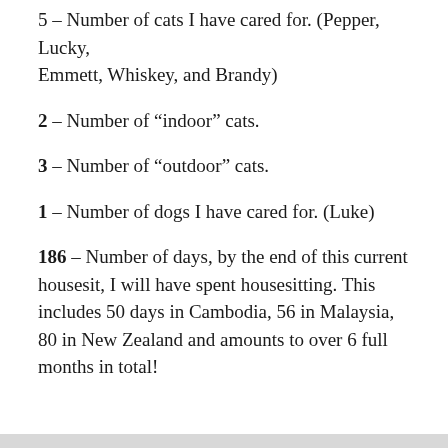5 – Number of cats I have cared for. (Pepper, Lucky, Emmett, Whiskey, and Brandy)
2 – Number of "indoor" cats.
3 – Number of "outdoor" cats.
1 – Number of dogs I have cared for. (Luke)
186 – Number of days, by the end of this current housesit, I will have spent housesitting. This includes 50 days in Cambodia, 56 in Malaysia, 80 in New Zealand and amounts to over 6 full months in total!